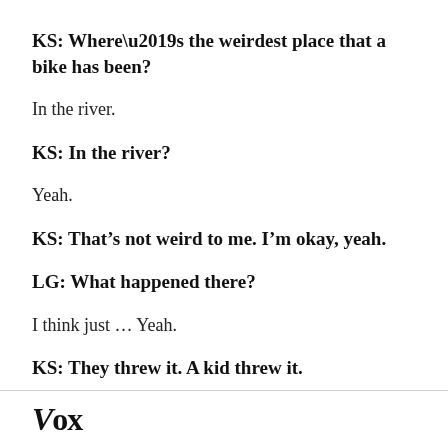KS: Where’s the weirdest place that a bike has been?
In the river.
KS: In the river?
Yeah.
KS: That’s not weird to me. I’m okay, yeah.
LG: What happened there?
I think just … Yeah.
KS: They threw it. A kid threw it.
Vox